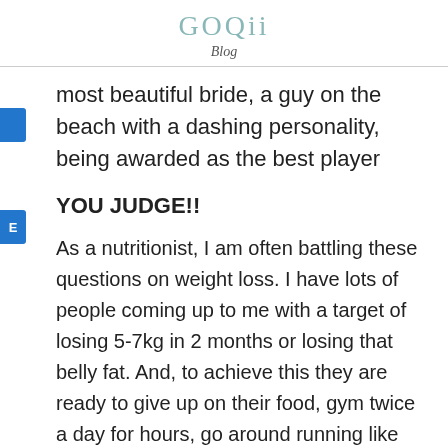GOQii Blog
most beautiful bride, a guy on the beach with a dashing personality, being awarded as the best player
YOU JUDGE!!
As a nutritionist, I am often battling these questions on weight loss. I have lots of people coming up to me with a target of losing 5-7kg in 2 months or losing that belly fat. And, to achieve this they are ready to give up on their food, gym twice a day for hours, go around running like crazy.